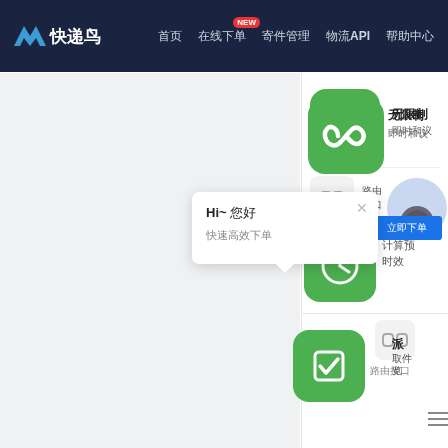[Figure (screenshot): Website navigation bar with logo 'V快递鸟' and nav links including 首页, 在线下单(NEW badge), 寄件管理, 物流API, 帮助中心]
[Figure (screenshot): Website content area showing green rounded icons (infinity, clock, checkbox), a popup dialog with 'Hi~ 您好 快速高效下单', blue button, avatar circle, chain icon, and Chinese text labels]